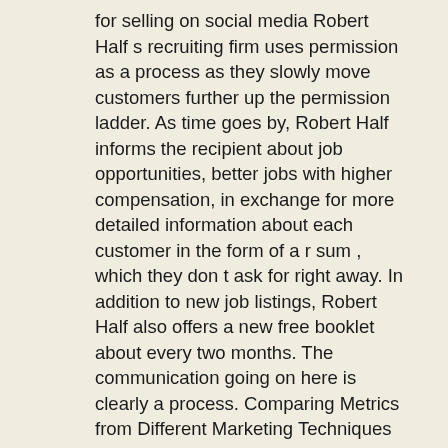for selling on social media Robert Half s recruiting firm uses permission as a process as they slowly move customers further up the permission ladder. As time goes by, Robert Half informs the recipient about job opportunities, better jobs with higher compensation, in exchange for more detailed information about each customer in the form of a r sum , which they don t ask for right away. In addition to new job listings, Robert Half also offers a new free booklet about every two months. The communication going on here is clearly a process. Comparing Metrics from Different Marketing Techniques Downloads Track the number of times users download video or audio files, slide-show PDF files, white papers, or application forms from your sites.